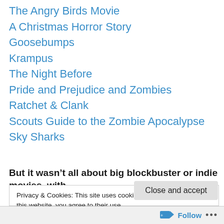The Angry Birds Movie
A Christmas Horror Story
Goosebumps
Krampus
The Night Before
Pride and Prejudice and Zombies
Ratchet & Clank
Scouts Guide to the Zombie Apocalypse
Sky Sharks
But it wasn’t all about big blockbuster or indie movies, with
Privacy & Cookies: This site uses cookies. By continuing to use this website, you agree to their use.
To find out more, including how to control cookies, see here: Cookie Policy
Follow •••